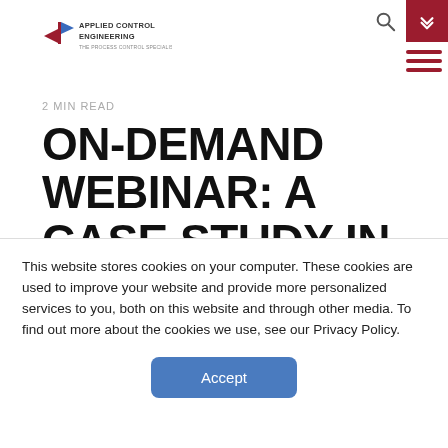[Figure (logo): Applied Control Engineering logo with red arrow/flag icon and company name text]
2 MIN READ
ON-DEMAND WEBINAR: A CASE STUDY IN EFFICIENCY
This website stores cookies on your computer. These cookies are used to improve your website and provide more personalized services to you, both on this website and through other media. To find out more about the cookies we use, see our Privacy Policy.
Accept